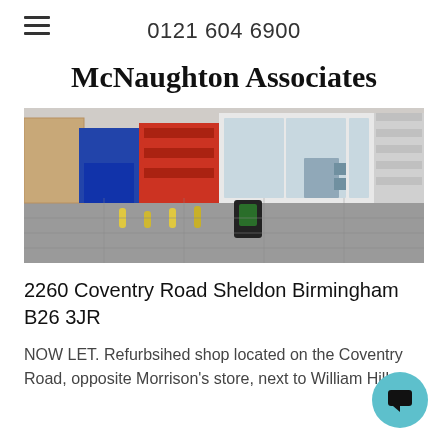0121 604 6900
McNaughton Associates
[Figure (photo): Street view photograph of a row of shops on Coventry Road, Sheldon, Birmingham. Shows a pedestrian area with bollards, a litter bin, and commercial shopfronts including one with red shutters and one with large glass frontage.]
2260 Coventry Road Sheldon Birmingham B26 3JR
NOW LET. Refurbsihed shop located on the Coventry Road, opposite Morrison's store, next to William Hill,